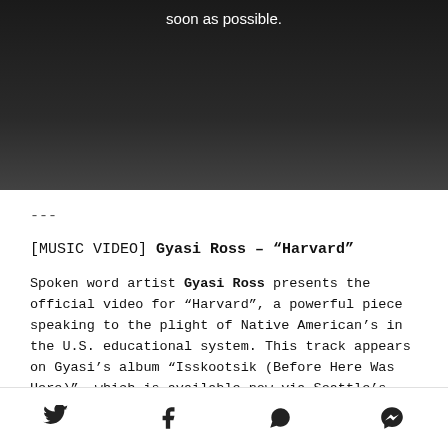[Figure (screenshot): Dark video screenshot with white text 'soon as possible.' visible near the top center]
---
[MUSIC VIDEO] Gyasi Ross – "Harvard"
Spoken word artist Gyasi Ross presents the official video for “Harvard”, a powerful piece speaking to the plight of Native American’s in the U.S. educational system. This track appears on Gyasi’s album “Isskootsik (Before Here Was Here)”, which is available now via Seattle’s Cabin Games.
Social sharing icons: Twitter, Facebook, WhatsApp, Messenger